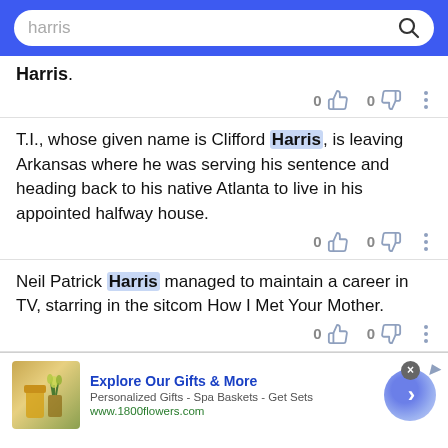[Figure (screenshot): Search bar with query 'harris' on blue background header]
Harris.
T.I., whose given name is Clifford Harris, is leaving Arkansas where he was serving his sentence and heading back to his native Atlanta to live in his appointed halfway house.
Neil Patrick Harris managed to maintain a career in TV, starring in the sitcom How I Met Your Mother.
[Figure (infographic): Advertisement banner: Explore Our Gifts & More - Personalized Gifts - Spa Baskets - Get Sets - www.1800flowers.com]